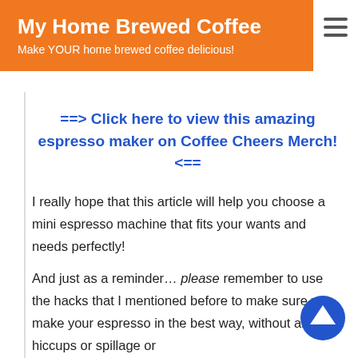My Home Brewed Coffee
Make YOUR home brewed coffee delicious!
==> Click here to view this amazing espresso maker on Coffee Cheers Merch! <==
I really hope that this article will help you choose a mini espresso machine that fits your wants and needs perfectly!
And just as a reminder… please remember to use the hacks that I mentioned before to make sure you make your espresso in the best way, without any hiccups or spillage or